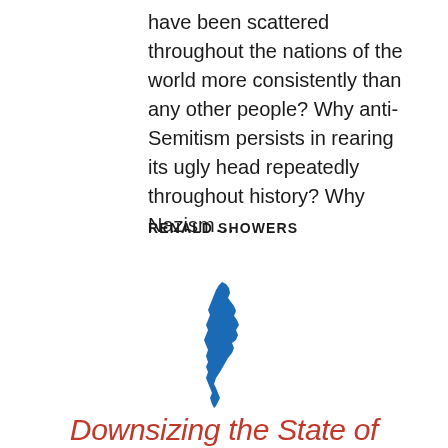have been scattered throughout the nations of the world more consistently than any other people? Why anti-Semitism persists in rearing its ugly head repeatedly throughout history? Why Nazism…
RENALD SHOWERS
[Figure (map): Blue silhouette map of Israel]
Downsizing the State of